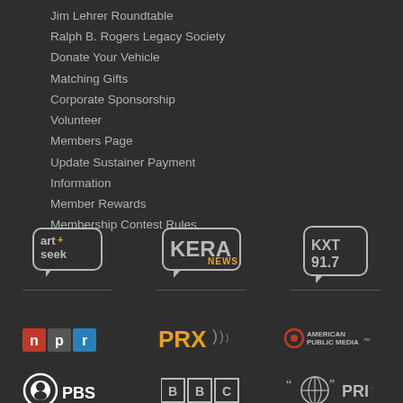Jim Lehrer Roundtable
Ralph B. Rogers Legacy Society
Donate Your Vehicle
Matching Gifts
Corporate Sponsorship
Volunteer
Members Page
Update Sustainer Payment
Information
Member Rewards
Membership Contest Rules
[Figure (logo): art+seek logo in speech bubble]
[Figure (logo): KERA News logo in speech bubble]
[Figure (logo): KXT 91.7 logo in speech bubble]
[Figure (logo): NPR logo with colored letter boxes]
[Figure (logo): PRX logo with sound waves]
[Figure (logo): American Public Media logo]
[Figure (logo): PBS logo with circular head icon]
[Figure (logo): BBC logo in boxed letters]
[Figure (logo): PRI globe logo]